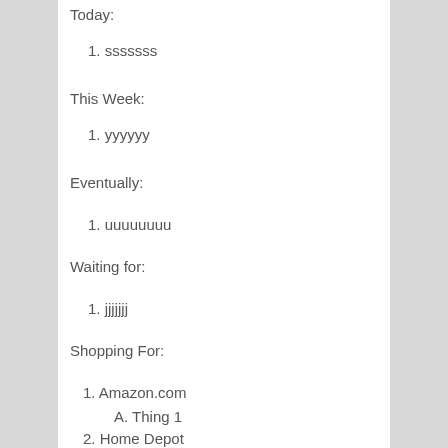Today:
1. sssssss
This Week:
1. yyyyyy
Eventually:
1. uuuuuuuu
Waiting for:
1. jjjjjjj
Shopping For:
1. Amazon.com
A. Thing 1
2. Home Depot
A. Thing 2